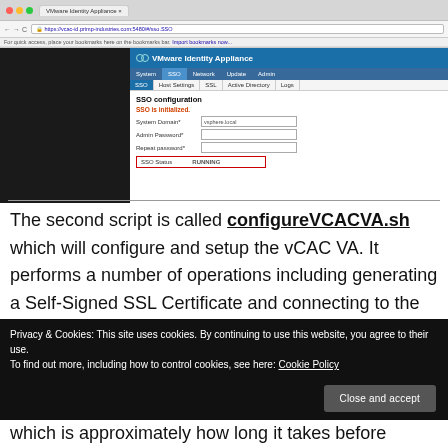[Figure (screenshot): Browser screenshot showing VMware Identity Appliance SSO configuration page. The SSO tab is active, showing SSO configuration with fields for System Domain (vsphere.local), Admin Password, Repeat Password, and SSO Status showing RUNNING highlighted in red border.]
The second script is called configureVCACVA.sh which will configure and setup the vCAC VA. It performs a number of operations including generating a Self-Signed SSL Certificate and connecting to the vCAC Identity VA and licensing
Privacy & Cookies: This site uses cookies. By continuing to use this website, you agree to their use.
To find out more, including how to control cookies, see here: Cookie Policy
which is approximately how long it takes before